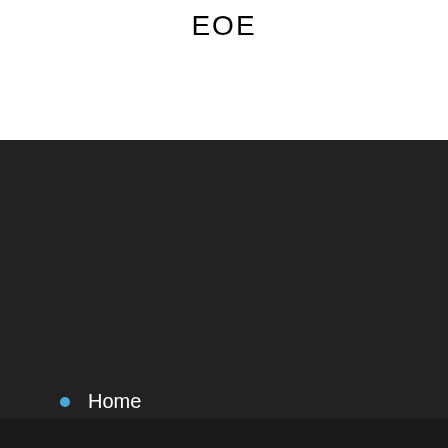EOE
Home
AGC Automotive Careers